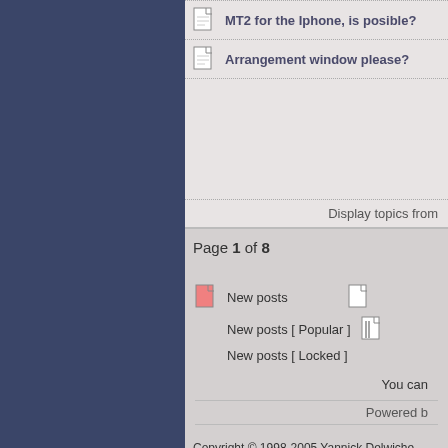MT2 for the Iphone, is posible?
Arrangement window please?
Display topics from
Page 1 of 8
New posts
New posts [ Popular ]
New posts [ Locked ]
You can
Powered b
Copyright © 1998-2005 Yannick Delwiche
All rights reserved